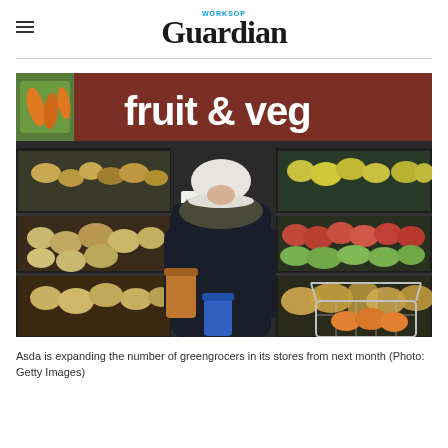Worksop Guardian
[Figure (photo): A shopper viewed from behind, wearing a dark parka coat and white hat, standing in front of a supermarket fruit and veg section. Large produce displays with various fruits are visible. A blue bag and shopping basket are visible. A dark red sign reads 'fruit & veg' in large white text.]
Asda is expanding the number of greengrocers in its stores from next month (Photo: Getty Images)